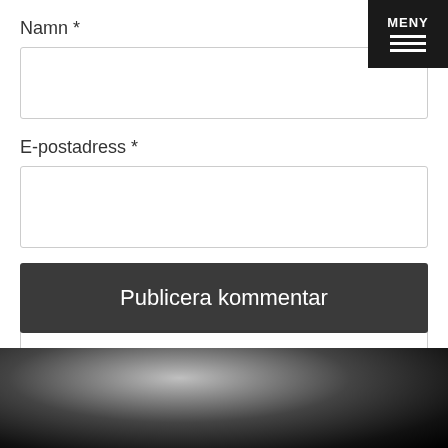MENY
Namn *
E-postadress *
Webbplats
Publicera kommentar
[Figure (photo): Dark gradient background photograph at the bottom of the page, showing a dark moody scene transitioning from grey to black]